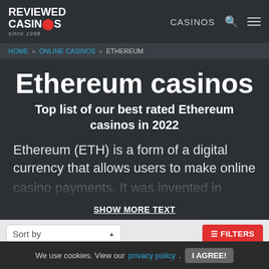REVIEWED CASINOS since 1998 | CASINOS
HOME » ONLINE CASINOS » ETHEREUM
Ethereum casinos
Top list of our best rated Ethereum casinos in 2022
Ethereum (ETH) is a form of a digital currency that allows users to make online casino payments. It was invented in 2013, but
SHOW MORE TEXT
Sort by
≡ FILTERS
We use cookies. View our privacy policy. I AGREE!